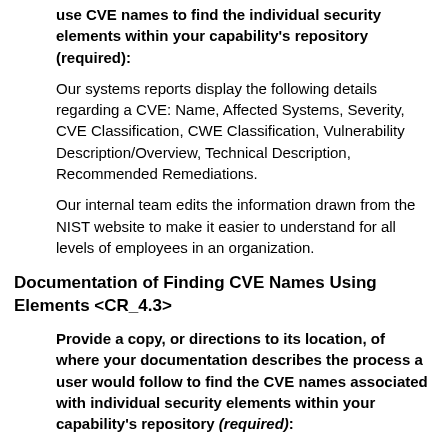use CVE names to find the individual security elements within your capability's repository (required):
Our systems reports display the following details regarding a CVE: Name, Affected Systems, Severity, CVE Classification, CWE Classification, Vulnerability Description/Overview, Technical Description, Recommended Remediations.
Our internal team edits the information drawn from the NIST website to make it easier to understand for all levels of employees in an organization.
Documentation of Finding CVE Names Using Elements <CR_4.3>
Provide a copy, or directions to its location, of where your documentation describes the process a user would follow to find the CVE names associated with individual security elements within your capability's repository (required):
See the answer to <CR_4.2>